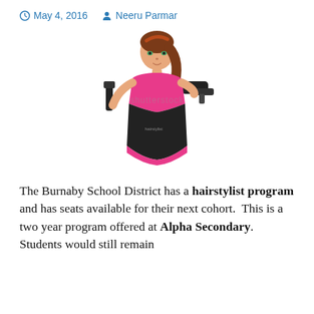May 4, 2016   Neeru Parmar
[Figure (illustration): Cartoon illustration of a female hairstylist wearing a black dress and pink top, holding a hair brush in one hand and a hair dryer in the other. Shutterstock watermark visible.]
The Burnaby School District has a hairstylist program and has seats available for their next cohort.  This is a two year program offered at Alpha Secondary. Students would still remain